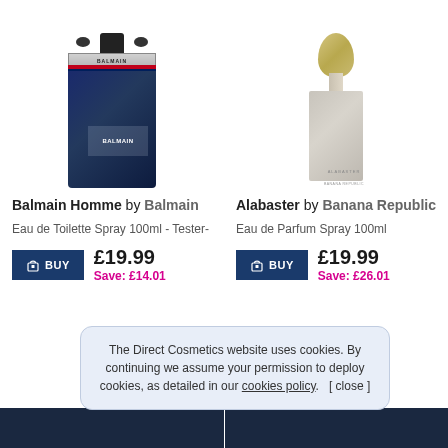[Figure (photo): Balmain Homme dark blue square perfume bottle with silver collar, red and dark blue stripes, black cap]
[Figure (photo): Alabaster by Banana Republic perfume bottle with gold oval stopper and light grey rectangular body]
Balmain Homme by Balmain
Alabaster by Banana Republic
Eau de Toilette Spray 100ml - Tester-
Eau de Parfum Spray 100ml
BUY  £19.99  Save: £14.01
BUY  £19.99  Save: £26.01
The Direct Cosmetics website uses cookies. By continuing we assume your permission to deploy cookies, as detailed in our cookies policy.  [ close ]